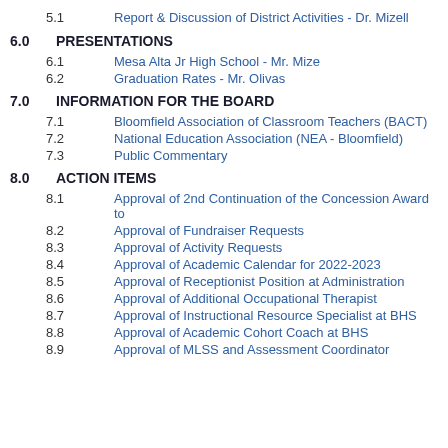5.1  Report & Discussion of District Activities - Dr. Mizell
6.0  PRESENTATIONS
6.1  Mesa Alta Jr High School - Mr. Mize
6.2  Graduation Rates - Mr. Olivas
7.0  INFORMATION FOR THE BOARD
7.1  Bloomfield Association of Classroom Teachers (BACT)
7.2  National Education Association (NEA - Bloomfield)
7.3  Public Commentary
8.0  ACTION ITEMS
8.1  Approval of 2nd Continuation of the Concession Award to
8.2  Approval of Fundraiser Requests
8.3  Approval of Activity Requests
8.4  Approval of Academic Calendar for 2022-2023
8.5  Approval of Receptionist Position at Administration
8.6  Approval of Additional Occupational Therapist
8.7  Approval of Instructional Resource Specialist at BHS
8.8  Approval of Academic Cohort Coach at BHS
8.9  Approval of MLSS and Assessment Coordinator